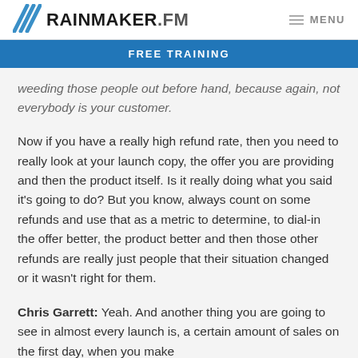RAINMAKER.FM   MENU
FREE TRAINING
weeding those people out before hand, because again, not everybody is your customer.
Now if you have a really high refund rate, then you need to really look at your launch copy, the offer you are providing and then the product itself. Is it really doing what you said it’s going to do? But you know, always count on some refunds and use that as a metric to determine, to dial-in the offer better, the product better and then those other refunds are really just people that their situation changed or it wasn’t right for them.
Chris Garrett: Yeah. And another thing you are going to see in almost every launch is, a certain amount of sales on the first day, when you make